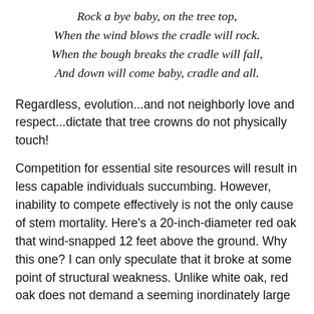Rock a bye baby, on the tree top,
When the wind blows the cradle will rock.
When the bough breaks the cradle will fall,
And down will come baby, cradle and all.
Regardless, evolution...and not neighborly love and respect...dictate that tree crowns do not physically touch!
Competition for essential site resources will result in less capable individuals succumbing. However, inability to compete effectively is not the only cause of stem mortality. Here’s a 20-inch-diameter red oak that wind-snapped 12 feet above the ground. Why this one? I can only speculate that it broke at some point of structural weakness. Unlike white oak, red oak does not demand a seeming inordinately large